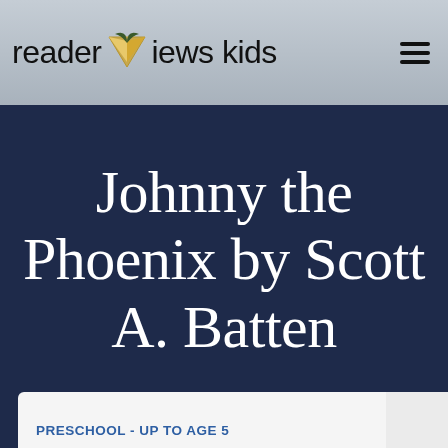reader Views kids
Johnny the Phoenix by Scott A. Batten
PRESCHOOL - UP TO AGE 5